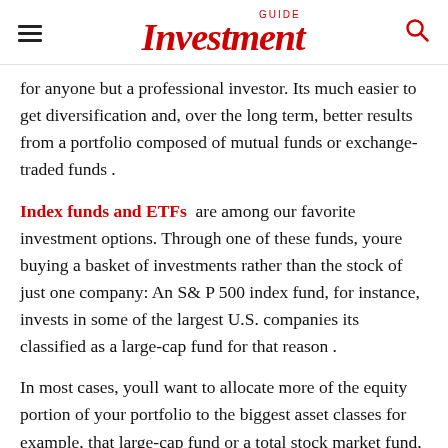GUIDE Investment
for anyone but a professional investor. Its much easier to get diversification and, over the long term, better results from a portfolio composed of mutual funds or exchange-traded funds .
Index funds and ETFs are among our favorite investment options. Through one of these funds, youre buying a basket of investments rather than the stock of just one company: An S& P 500 index fund, for instance, invests in some of the largest U.S. companies its classified as a large-cap fund for that reason .
In most cases, youll want to allocate more of the equity portion of your portfolio to the biggest asset classes for example, that large-cap fund or a total stock market fund, and secondarily, a developed